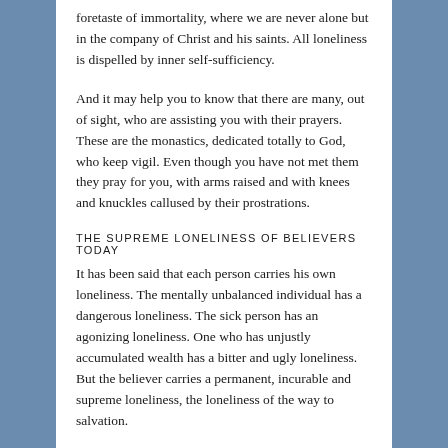foretaste of immortality, where we are never alone but in the company of Christ and his saints. All loneliness is dispelled by inner self-sufficiency.
And it may help you to know that there are many, out of sight, who are assisting you with their prayers. These are the monastics, dedicated totally to God, who keep vigil. Even though you have not met them they pray for you, with arms raised and with knees and knuckles callused by their prostrations.
THE SUPREME LONELINESS OF BELIEVERS TODAY
It has been said that each person carries his own loneliness. The mentally unbalanced individual has a dangerous loneliness. The sick person has an agonizing loneliness. One who has unjustly accumulated wealth has a bitter and ugly loneliness. But the believer carries a permanent, incurable and supreme loneliness, the loneliness of the way to salvation.
We have become accustomed to referring to the